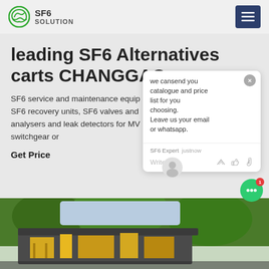SF6 SOLUTION
leading SF6 Alternatives carts CHANGGAO
SF6 service and maintenance equip... including SF6 recovery units, SF6 valves and ... F6 analysers and leak detectors for MV... switchgear or
Get Price
[Figure (screenshot): Chat popup overlay with message: we cansend you catalogue and price list for you choosing. Leave us your email or whatsapp. SF6 Expert justnow. Write row with thumb and paperclip icons.]
[Figure (photo): Bottom portion of page showing yellow industrial equipment (SF6 cart/recovery unit) with trees and sky in background.]